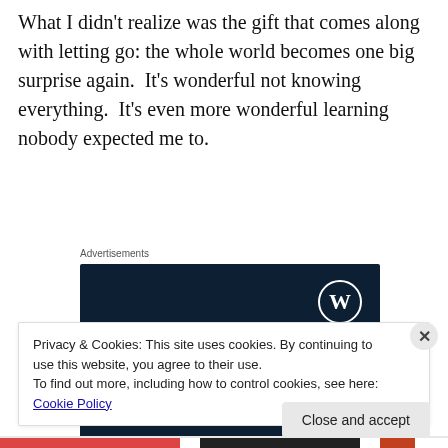What I didn't realize was the gift that comes along with letting go: the whole world becomes one big surprise again.  It's wonderful not knowing everything.  It's even more wonderful learning nobody expected me to.
Advertisements
[Figure (screenshot): WordPress.com advertisement banner with dark navy background. Shows WordPress logo (W in circle) at top right. Text reads 'Opinions.' on one line and 'We all have them!' in bold below.]
Privacy & Cookies: This site uses cookies. By continuing to use this website, you agree to their use.
To find out more, including how to control cookies, see here: Cookie Policy
Close and accept